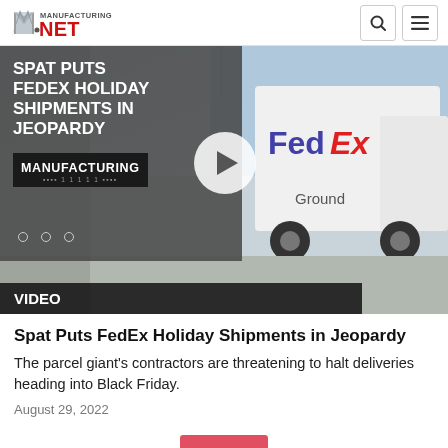Manufacturing.net
[Figure (screenshot): Video thumbnail showing FedEx Ground delivery truck with overlay text 'SPAT PUTS FEDEX HOLIDAY SHIPMENTS IN JEOPARDY' and a play button. Manufacturing logo shown in lower left of overlay. Three navigation dots at bottom of overlay.]
VIDEO
Spat Puts FedEx Holiday Shipments in Jeopardy
The parcel giant's contractors are threatening to halt deliveries heading into Black Friday.
August 29, 2022